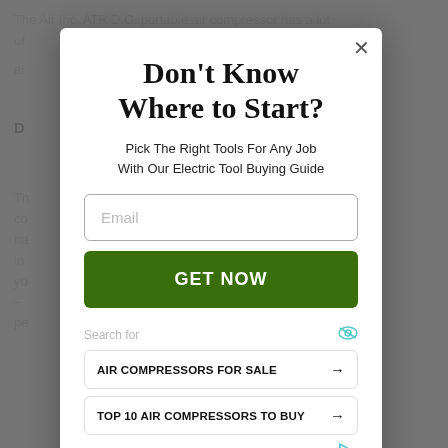The Air Inc. ATR D.C. portable air compressor has a lot of... ai...
D...
Th... co... ha... in... yo... – pe...
Don't Know Where to Start?
Pick The Right Tools For Any Job With Our Electric Tool Buying Guide
Email
GET NOW
Search for
AIR COMPRESSORS FOR SALE
TOP 10 AIR COMPRESSORS TO BUY